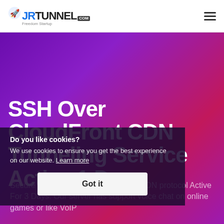JRTUNNEL.COM
SSH Over CloudFront CDN Tunneling Service Active 1 Days
Secure SSH tunnel over CloudFront CDN protocol Active For 3 Days. Our server has support voice chat on online games or like VoIP
Do you like cookies?
We use cookies to ensure you get the best experience on our website. Learn more
Got it